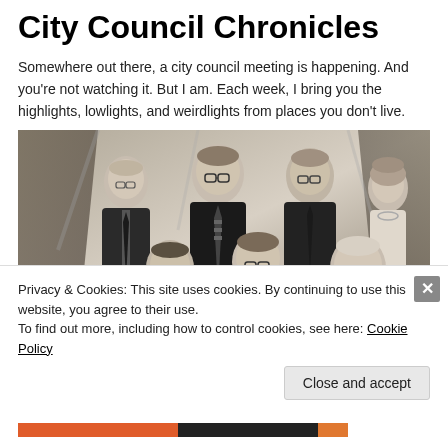City Council Chronicles
Somewhere out there, a city council meeting is happening. And you're not watching it. But I am. Each week, I bring you the highlights, lowlights, and weirdlights from places you don't live.
[Figure (photo): Black and white vintage group portrait of seven people (city council members), three standing in back row and three seated in front row, with a woman on the right side of back row.]
Privacy & Cookies: This site uses cookies. By continuing to use this website, you agree to their use.
To find out more, including how to control cookies, see here: Cookie Policy
Close and accept